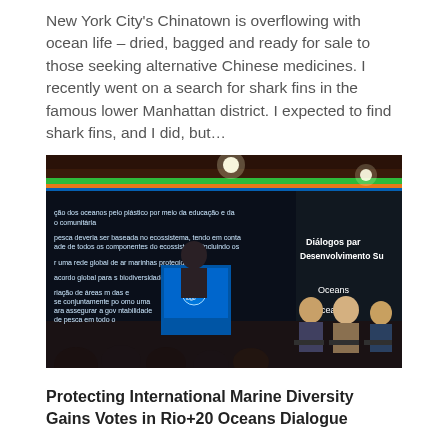New York City's Chinatown is overflowing with ocean life – dried, bagged and ready for sale to those seeking alternative Chinese medicines. I recently went on a search for shark fins in the famous lower Manhattan district. I expected to find shark fins, and I did, but…
[Figure (photo): Conference or panel discussion with a speaker at a podium displaying a projection screen with Portuguese text about ocean conservation; text on screen references 'Diálogos para Desenvolvimento Su...' and 'Oceans / Oceanos'; panelists seated in background.]
Protecting International Marine Diversity Gains Votes in Rio+20 Oceans Dialogue